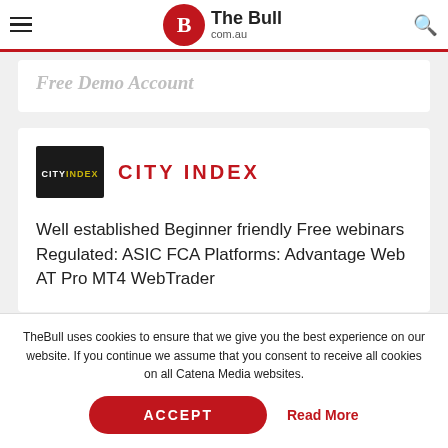The Bull com.au
Free Demo Account
[Figure (logo): City Index logo — black box with CITY INDEX text in white and yellow]
CITY INDEX
Well established Beginner friendly Free webinars Regulated: ASIC FCA Platforms: Advantage Web AT Pro MT4 WebTrader
TheBull uses cookies to ensure that we give you the best experience on our website. If you continue we assume that you consent to receive all cookies on all Catena Media websites.